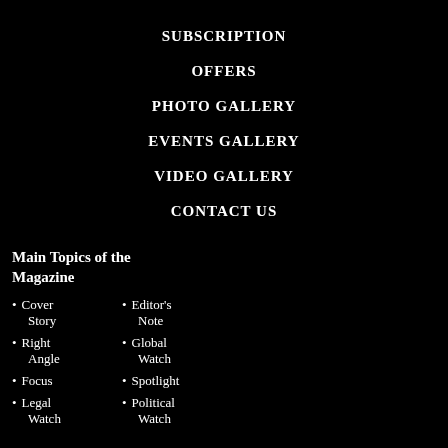SUBSCRIPTION
OFFERS
PHOTO GALLERY
EVENTS GALLERY
VIDEO GALLERY
CONTACT US
Main Topics of the Magazine
Cover Story
Editor's Note
Right Angle
Global Watch
Focus
Spotlight
Legal Watch
Political Watch